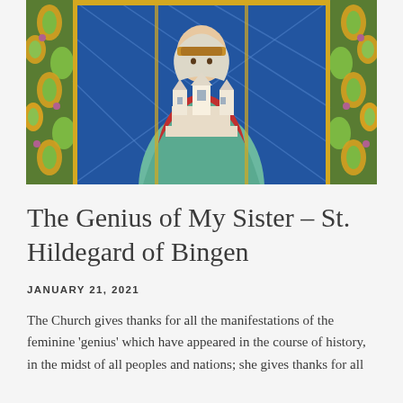[Figure (photo): Stained glass window depicting St. Hildegard of Bingen holding a miniature church/monastery model, with colorful floral and geometric border patterns in blue, green, gold, and red.]
The Genius of My Sister – St. Hildegard of Bingen
JANUARY 21, 2021
The Church gives thanks for all the manifestations of the feminine 'genius' which have appeared in the course of history, in the midst of all peoples and nations; she gives thanks for all